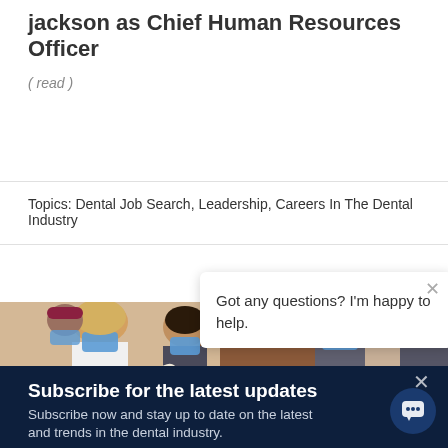jackson as Chief Human Resources Officer
( read )
Topics: Dental Job Search, Leadership, Careers In The Dental Industry
[Figure (photo): Group of dental professionals wearing blue face masks in a clinical setting]
Got any questions? I'm happy to help.
Subscribe for the latest updates
Subscribe now and stay up to date on the latest and trends in the dental industry.